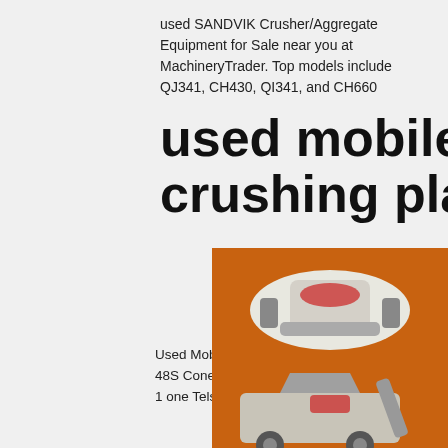used SANDVIK Crusher/Aggregate Equipment for Sale near you at MachineryTrader. Top models include QJ341, CH430, QI341, and CH660
used mobile impact crushing plant prices
Used Mobile Cone Crusher Rent For Por... Prices / Quote. Cone Crushers For Sale. 1968 Portable 48S Cone Crushing Screening Plant... 16 three deck screen 68,500 USD Location N... Fresno, CA 1 one Telsmith Portable 48S Cone... Screening Plant. ...
[Figure (illustration): Orange sidebar advertisement panel with images of crushing/mining machinery, discount offer, click to chat button, enquiry section, and limingjlmofen@sina.com contact]
used mobile crusher prices - MC World.INC